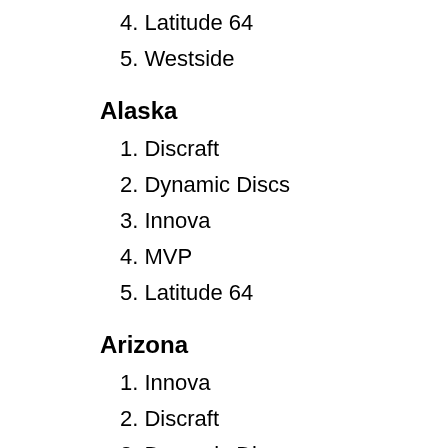4. Latitude 64
5. Westside
Alaska
1. Discraft
2. Dynamic Discs
3. Innova
4. MVP
5. Latitude 64
Arizona
1. Innova
2. Discraft
3. Dynamic Discs
4. Latitude 64
5. Discmania
Arkansas